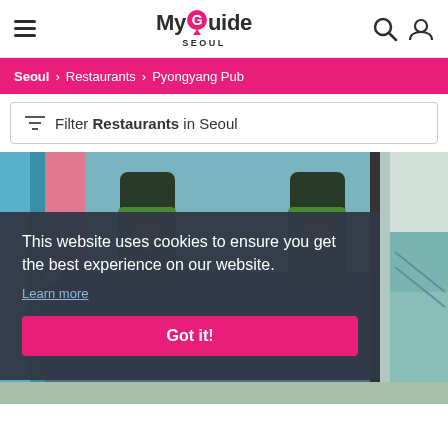MyGuide Seoul
Seoul > Restaurants > Pyongyang Pub
Filter Restaurants in Seoul
[Figure (photo): Restaurant interior showing green bottles with orange labels, colorful walls in blue and pink tones]
This website uses cookies to ensure you get the best experience on our website. Learn more Got it!